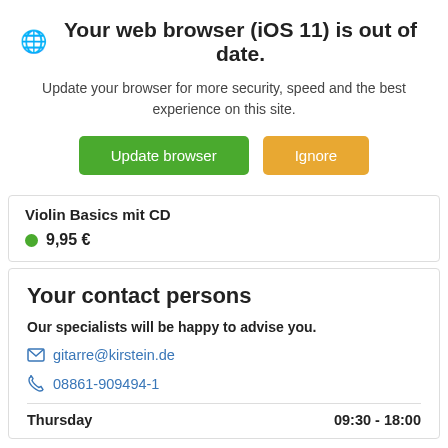Your web browser (iOS 11) is out of date.
Update your browser for more security, speed and the best experience on this site.
Update browser | Ignore
Violin Basics mit CD
9,95 €
Your contact persons
Our specialists will be happy to advise you.
gitarre@kirstein.de
08861-909494-1
Thursday  09:30 - 18:00